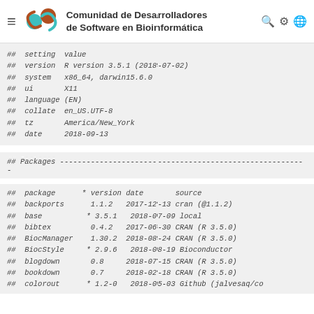Comunidad de Desarrolladores de Software en Bioinformática
## setting  value
## version  R version 3.5.1 (2018-07-02)
## system   x86_64, darwin15.6.0
## ui        X11
## language  (EN)
## collate   en_US.UTF-8
## tz        America/New_York
## date      2018-09-13
## Packages -------------------------------------------
## package       * version date       source
## backports       1.1.2   2017-12-13 cran (@1.1.2)
## base          * 3.5.1   2018-07-09 local
## bibtex           0.4.2   2017-06-30 CRAN (R 3.5.0)
## BiocManager      1.30.2  2018-08-24 CRAN (R 3.5.0)
## BiocStyle      * 2.9.6   2018-08-19 Bioconductor
## blogdown         0.8     2018-07-15 CRAN (R 3.5.0)
## bookdown         0.7     2018-02-18 CRAN (R 3.5.0)
## colorout       * 1.2-0   2018-05-03 Github (jalvesaq/co
## ...